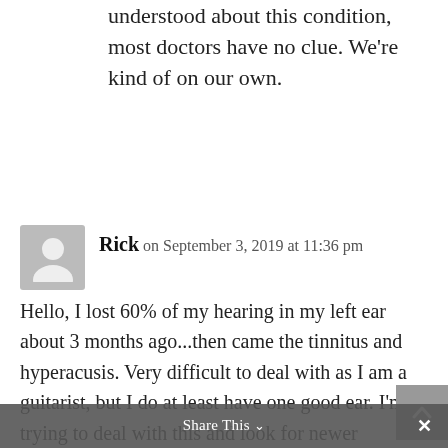understood about this condition, most doctors have no clue. We're kind of on our own.
Rick on September 3, 2019 at 11:36 pm
Hello, I lost 60% of my hearing in my left ear about 3 months ago...then came the tinnitus and hyperacusis. Very difficult to deal with as I am a guitarist, but I do at least have one good ear. I'm trying to deal with this and look for newer solutions....stem cells, gene therapy, etc. Not sure what to do at this point but I can feel myself withdrawing somewhat socially because I know what's going to
Share This ∨  ×